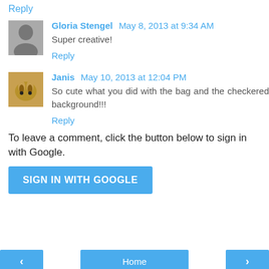Reply
Gloria Stengel May 8, 2013 at 9:34 AM
Super creative!
Reply
Janis May 10, 2013 at 12:04 PM
So cute what you did with the bag and the checkered background!!!
Reply
To leave a comment, click the button below to sign in with Google.
SIGN IN WITH GOOGLE
< Home >